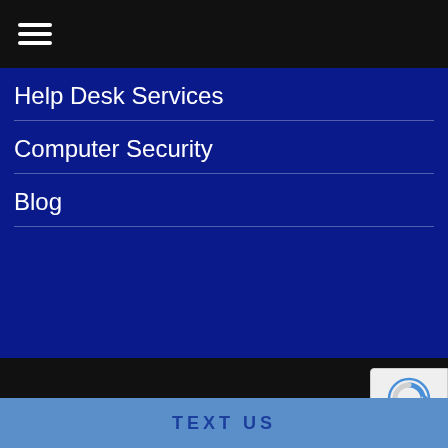[Figure (other): Hamburger menu icon (three horizontal white lines) on black top bar]
Help Desk Services
Computer Security
Blog
Copyright 2022 Techsperts LLC, All Rights Reserved.
| Sitemap | Privacy Policy | MSP Marketing
TEXT US
[Figure (other): reCAPTCHA badge with logo and Privacy - Terms text]